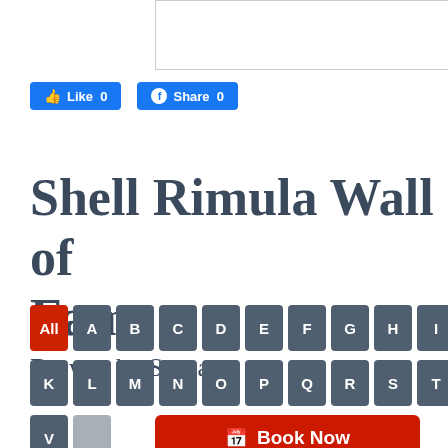[Figure (other): Partial white box with border at top right of page]
[Figure (screenshot): Facebook Like button showing count 0]
[Figure (screenshot): Facebook Share button showing count 0]
Shell Rimula Wall of Fame
Browse by Surname
[Figure (infographic): Alphabet navigation buttons: All (active/red), A, B, C, D, E, F, G, H, I, J, K, L, M, N, O, P, Q, R, S, T, U, V and more, plus Book Now button]
[Figure (other): Book Now button with calendar icon]